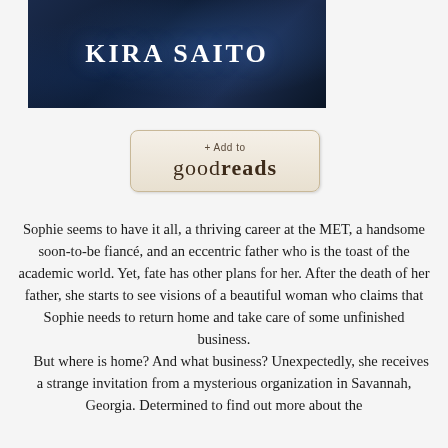[Figure (photo): Book cover banner with dark blue background and author name KIRA SAITO in white bold letters]
[Figure (logo): Goodreads Add to button with beige background showing '+ Add to goodreads']
Sophie seems to have it all, a thriving career at the MET, a handsome soon-to-be fiancé, and an eccentric father who is the toast of the academic world. Yet, fate has other plans for her. After the death of her father, she starts to see visions of a beautiful woman who claims that Sophie needs to return home and take care of some unfinished business.
	But where is home? And what business? Unexpectedly, she receives a strange invitation from a mysterious organization in Savannah, Georgia. Determined to find out more about the